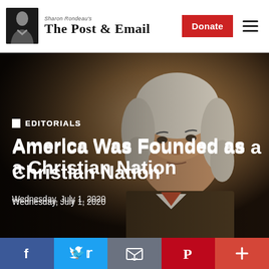Sharon Rondeau's The Post & Email
[Figure (photo): Hero image: painted portrait of a Founding Father (likely Thomas Jefferson) with warm brown tones, overlaid with article headline and category tag]
EDITORIALS
America Was Founded as a Christian Nation
Wednesday, July 1, 2020
[Figure (infographic): Social sharing bar with Facebook, Twitter, Email, Pinterest, and Plus buttons]